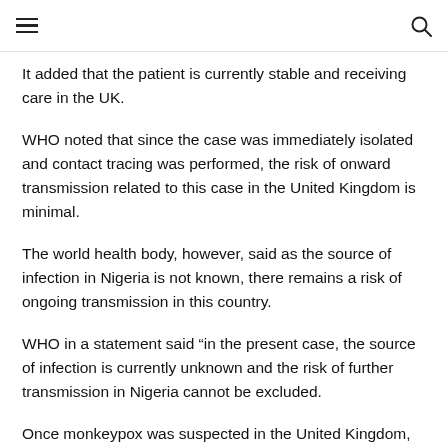≡  🔍
It added that the patient is currently stable and receiving care in the UK.
WHO noted that since the case was immediately isolated and contact tracing was performed, the risk of onward transmission related to this case in the United Kingdom is minimal.
The world health body, however, said as the source of infection in Nigeria is not known, there remains a risk of ongoing transmission in this country.
WHO in a statement said “in the present case, the source of infection is currently unknown and the risk of further transmission in Nigeria cannot be excluded.
Once monkeypox was suspected in the United Kingdom,